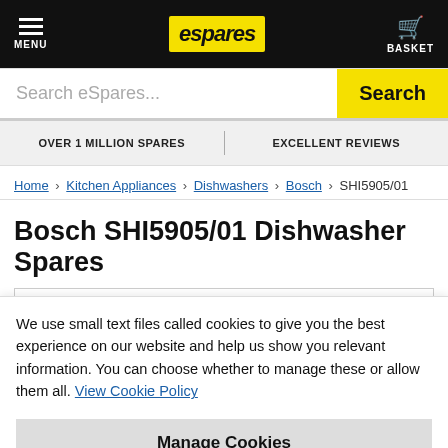MENU | eSpares | BASKET
Search eSpares...
OVER 1 MILLION SPARES | EXCELLENT REVIEWS
Home > Kitchen Appliances > Dishwashers > Bosch > SHI5905/01
Bosch SHI5905/01 Dishwasher Spares
Refine Your Selection
We use small text files called cookies to give you the best experience on our website and help us show you relevant information. You can choose whether to manage these or allow them all. View Cookie Policy
Manage Cookies
Allow All